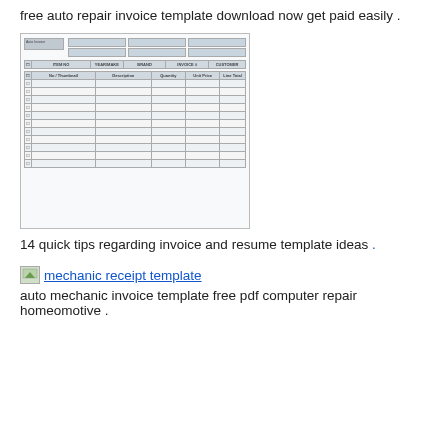free auto repair invoice template download now get paid easily .
[Figure (screenshot): Screenshot of a spreadsheet-style auto repair invoice template with header fields, column headers (item, description, qty, unit price, line total), and multiple empty rows with checkboxes.]
14 quick tips regarding invoice and resume template ideas .
mechanic receipt template
auto mechanic invoice template free pdf computer repair homeomotive .